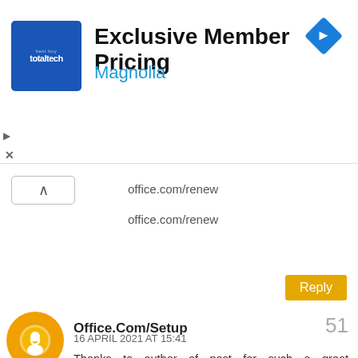[Figure (infographic): Ad banner: blue square logo with 'totaltech' text, 'Exclusive Member Pricing' title in bold black, 'Magnolia' subtitle in blue, blue diamond navigation icon top right, play and close controls on left side]
office.com/renew
office.com/renew
Reply
Office.Com/Setup  51
16 APRIL 2021 AT 15:41
Thanks to author of post for such a great information.I like your blog post and subscribe your blog for all your future post.i have also some links which i think is useful for some users
office setup
office setup
office setup
office setup